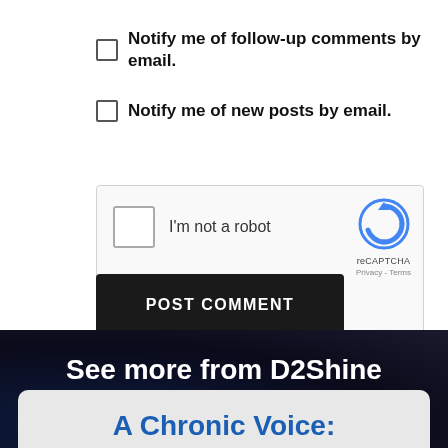Notify me of follow-up comments by email.
Notify me of new posts by email.
[Figure (screenshot): reCAPTCHA widget with checkbox labeled 'I'm not a robot' and Google reCAPTCHA logo with Privacy and Terms links]
POST COMMENT
See more from D2Shine
A Chronic Voice: